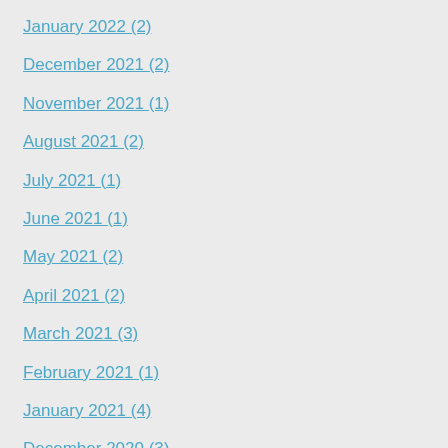January 2022 (2)
December 2021 (2)
November 2021 (1)
August 2021 (2)
July 2021 (1)
June 2021 (1)
May 2021 (2)
April 2021 (2)
March 2021 (3)
February 2021 (1)
January 2021 (4)
December 2020 (3)
November 2020 (3)